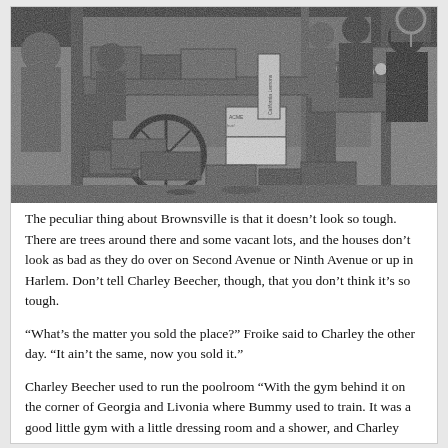[Figure (photo): Black and white photograph of an outdoor market or produce stand, showing wooden crates and boxes stacked around a wagon wheel. Vendors and customers are visible in the background. Signs include 'ACME' and 'California Lemons'. The scene appears to be a street market, likely from mid-20th century.]
The peculiar thing about Brownsville is that it doesn't look so tough. There are trees around there and some vacant lots, and the houses don't look as bad as they do over on Second Avenue or Ninth Avenue or up in Harlem. Don't tell Charley Beecher, though, that you don't think it's so tough.
“What’s the matter you sold the place?” Froike said to Charley the other day. “It ain’t the same, now you sold it.”
Charley Beecher used to run the poolroom “With the gym behind it on the corner of Georgia and Livonia where Bummy used to train. It was a good little gym with a little dressing room and a shower, and Charley was a pretty good featherweight in the twenties, and his brother Willie, who was even a better fighter, fought Abe Attell and Johnny Dundee and Jack Britton and Leach Cross and Knockout Brown.